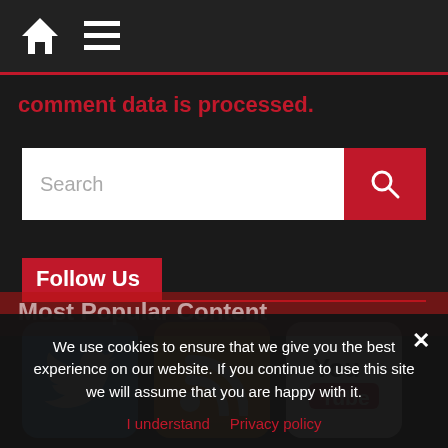Navigation bar with home and menu icons
comment data is processed.
[Figure (screenshot): Search bar with text input and red search button with magnifying glass icon]
Follow Us
[Figure (infographic): Three social media icons: Twitter (blue bird), RSS (orange feed icon), YouTube (white with red and black logo)]
We use cookies to ensure that we give you the best experience on our website. If you continue to use this site we will assume that you are happy with it.
I understand   Privacy policy
Most Popular Content